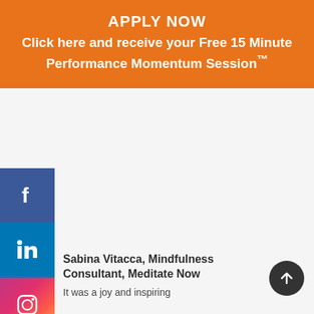APPLY NOW
Click here and receive your Free 15 Minute Performance Momentum Session™
[Figure (infographic): Social media sidebar buttons: Facebook (blue), LinkedIn (blue), Instagram (gradient pink/red/orange), Email (grey)]
Sabina Vitacca, Mindfulness Consultant, Meditate Now
It was a joy and inspiring